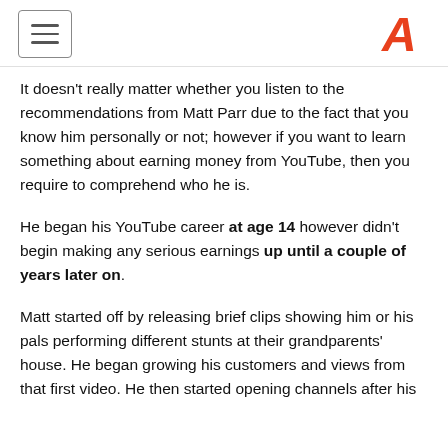[hamburger menu] [A logo]
It doesn't really matter whether you listen to the recommendations from Matt Parr due to the fact that you know him personally or not; however if you want to learn something about earning money from YouTube, then you require to comprehend who he is.
He began his YouTube career at age 14 however didn't begin making any serious earnings up until a couple of years later on.
Matt started off by releasing brief clips showing him or his pals performing different stunts at their grandparents' house. He began growing his customers and views from that first video. He then started opening channels after his